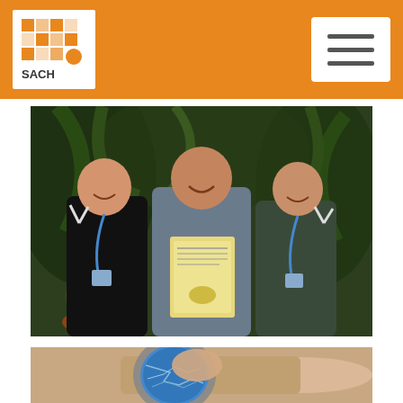[Figure (logo): SACH logo — white square with grid/dots pattern and orange accent, on orange background header bar with hamburger menu icon]
[Figure (photo): Three men smiling in a greenhouse/botanical garden setting. Left man wears black sweatshirt with blue lanyard and makes peace sign. Center man in plaid shirt holds a yellow certificate/award paper. Right man in dark shirt with blue lanyard makes peace sign. Lush tropical plants in background.]
[Figure (photo): Close-up of a hand touching/tapping a smartwatch with a blue circular screen showing a map interface. Watch has a silver metallic bezel.]